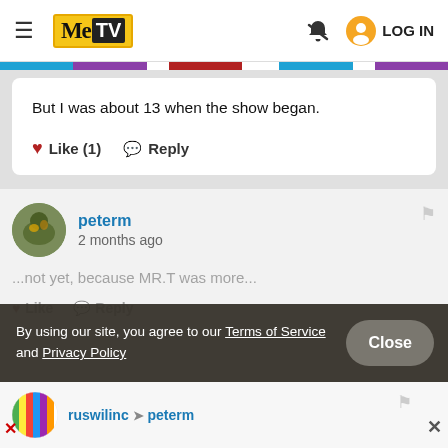MeTV | LOG IN
But I was about 13 when the show began.
❤ Like (1)   💬 Reply
peterm
2 months ago
...not yet, because MR.T was more...
Like  Reply
By using our site, you agree to our Terms of Service and Privacy Policy
Close
ruswilinc → peterm